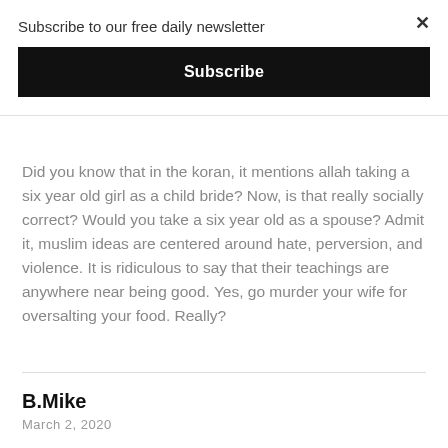Subscribe to our free daily newsletter
Subscribe
Did you know that in the koran, it mentions allah taking a six year old girl as a child bride? Now, is that really socially correct? Would you take a six year old as a spouse? Admit it, muslim ideas are centered around hate, perversion, and violence. It is ridiculous to say that their teachings are anywhere near being good. Yes, go murder your wife for oversalting your food. Really?
B.Mike
March 2, 2020